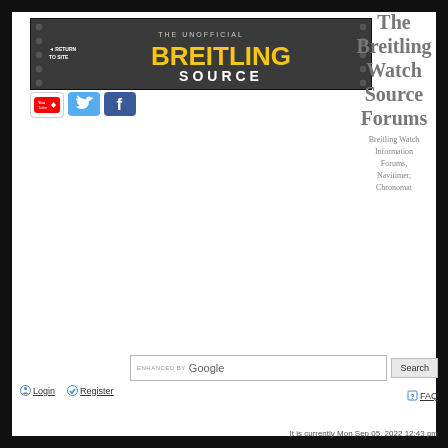[Figure (logo): The Unofficial Breitling Source banner with yellow BREITLING text and white SOURCE text on dark metallic background with rivets]
[Figure (logo): YouTube, Twitter, and Facebook social media icons]
The Breitling Watch Source Forums
Breitling Watch Information Forums, Navitimer, Chronomat
enhanced by Google Search
Login  Register
FAQ
It is currently Mon Sep 05, 2022 12:43 pm